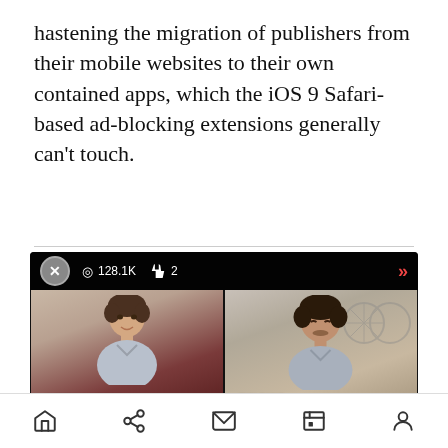hastening the migration of publishers from their mobile websites to their own contained apps, which the iOS 9 Safari-based ad-blocking extensions generally can't touch.
[Figure (screenshot): Video player screenshot showing two people in a split-screen video call. Left panel shows Andrew Davidson, right panel shows Shiv Ramji. Top bar shows 128.1K views and 2 likes. Bottom shows 'Transform 2022' branding, timestamp 0:00 / -:- and playback speed 1x.]